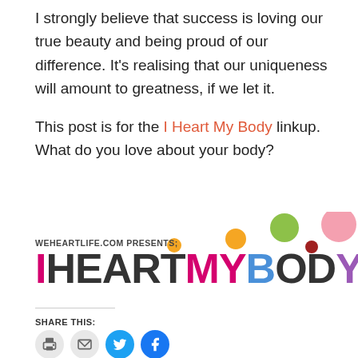I strongly believe that success is loving our true beauty and being proud of our difference. It's realising that our uniqueness will amount to greatness, if we let it.
This post is for the I Heart My Body linkup. What do you love about your body?
[Figure (logo): IHEARTMYBODY2012 logo from weheartlife.com with colorful dots]
SHARE THIS: